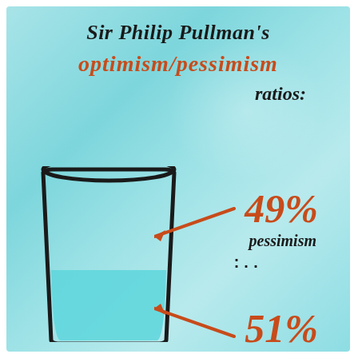Sir Philip Pullman's OPTIMISM/PESSIMISM ratios:
[Figure (infographic): A half-full glass of water illustration with annotations showing 49% pessimism pointing to the empty upper portion and 51% (partially visible at bottom) optimism pointing to the filled lower portion. Handwritten-style text on a watercolor teal/turquoise background.]